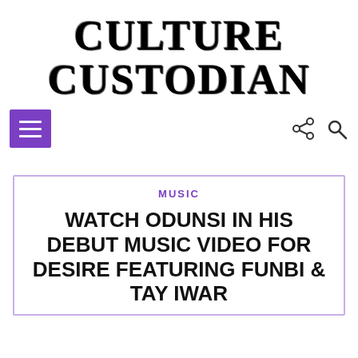CULTURE CUSTODIAN
[Figure (other): Purple hamburger menu button (three white horizontal lines on purple background)]
[Figure (other): Share icon and search/magnifier icon in dark gray]
MUSIC
WATCH ODUNSI IN HIS DEBUT MUSIC VIDEO FOR DESIRE FEATURING FUNBI & TAY IWAR